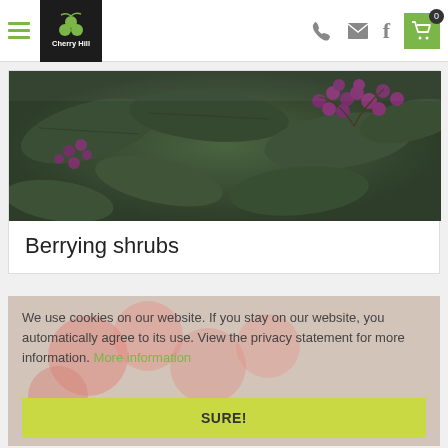Cherry Hill website header with hamburger menu, logo, phone, email, facebook icons, and cart showing 0
[Figure (photo): Close-up photo of dark green leaves with clusters of small purple/pink berries on branches — berrying shrubs]
Berrying shrubs
[Figure (photo): Background photo of red berries/fruits with white overlay]
We use cookies on our website. If you stay on our website, you automatically agree to its use. View the privacy statement for more information. More information
SURE!